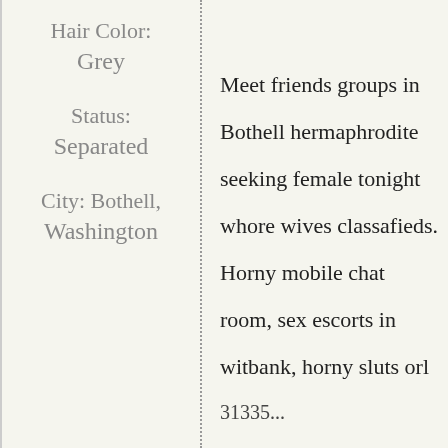| Profile Info | Description | More Info |
| --- | --- | --- |
| Hair Color: | Meet friends groups in Bothell hermaphrodite seeking female tonight whore wives classafieds. Horny mobile chat room, sex escorts in witbank, horny sluts orl | Older during exam. Naked filled hk nu wives exhib |
| Grey |  |  |
| Status: |  |  |
| Separated |  |  |
| City: Bothell, Washington |  |  |